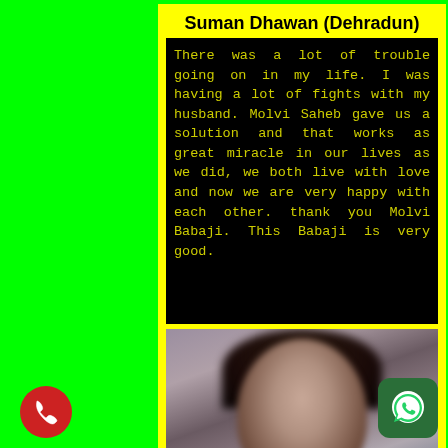Suman Dhawan (Dehradun)
There was a lot of trouble going on in my life. I was having a lot of fights with my husband. Molvi Saheb gave us a solution and that works as great miracle in our lives as we did, we both live with love and now we are very happy with each other. thank you Molvi Babaji. This Babaji is very good.
[Figure (photo): Blurred portrait photo of a person against a grey background]
[Figure (illustration): Red phone call icon circle at bottom left]
[Figure (illustration): WhatsApp icon at bottom right]